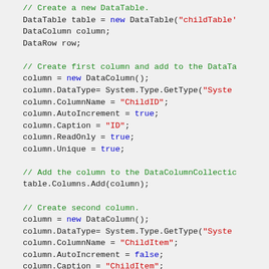[Figure (screenshot): Syntax-highlighted C# code snippet showing creation of a DataTable with columns: comments in green, keywords in blue, string literals in red, and regular code in dark/black. Shows creation of a new DataTable named 'childTable', DataColumn and DataRow declarations, setup of first column (ChildID, AutoIncrement, Caption=ID, ReadOnly, Unique), adding column to table, then setup of second column (ChildItem, AutoIncrement=false, Caption=ChildItem, ReadOnly=false).]